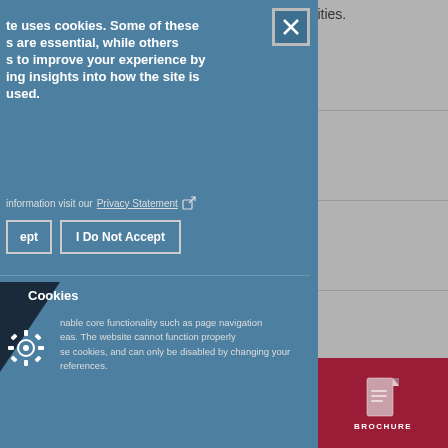tunities.
[Figure (screenshot): Cookie consent modal overlay on a website. The modal has a blue-grey background with a close (X) button in the top right corner. Large bold white text reads: 'te uses cookies. Some of these s are essential, while others s to improve your experience by ing insights into how the site is used.' Below is a line with a Privacy Statement link and external link icon. Two buttons are shown: 'ept' (Accept) and 'I Do Not Accept'. Below a divider is a Cookies section with a dark triangle decorative element, a gear/cookie icon, and text about enabling core functionality. To the right is a grey background area with horizontal divider lines. Bottom right has a burgundy/red BROCHURE button with a document icon.]